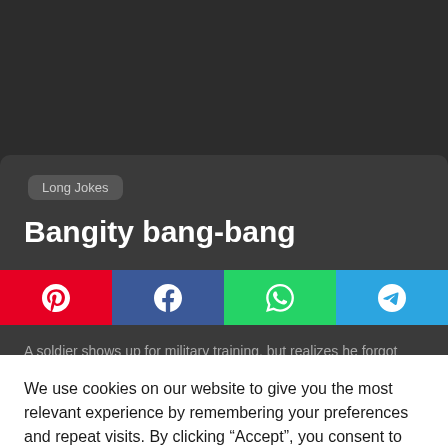Long Jokes
Bangity bang-bang
[Figure (other): Social share buttons: Pinterest (red), Facebook (blue), WhatsApp (green), Telegram (light blue)]
A soldier shows up for military training, but realizes he forgot
We use cookies on our website to give you the most relevant experience by remembering your preferences and repeat visits. By clicking “Accept”, you consent to the use of ALL the cookies.
Cookie settings
ACCEPT